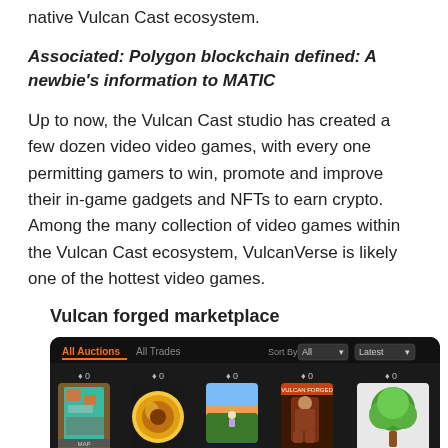native Vulcan Cast ecosystem.
Associated: Polygon blockchain defined: A newbie's information to MATIC
Up to now, the Vulcan Cast studio has created a few dozen video video games, with every one permitting gamers to win, promote and improve their in-game gadgets and NFTs to earn crypto. Among the many collection of video games within the Vulcan Cast ecosystem, VulcanVerse is likely one of the hottest video games.
Vulcan forged marketplace
[Figure (screenshot): Screenshot of the Vulcan Forged marketplace interface showing 'All Auctions' and 'All Trades' tabs with a Sort By dropdown set to 'All' and 'Latest', displaying 5 NFT cards with prices shown as numbers and various NFT artwork including a map, a coin, a landscape scene, a warrior card, and a tree logo.]